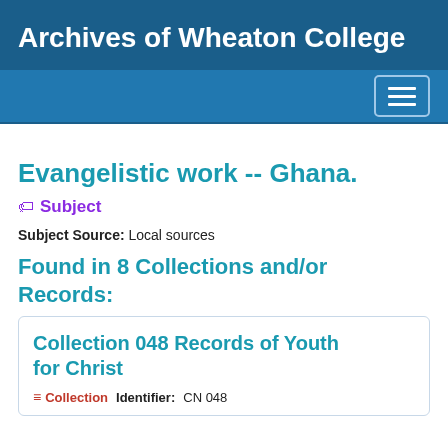Archives of Wheaton College
Evangelistic work -- Ghana.
Subject
Subject Source: Local sources
Found in 8 Collections and/or Records:
Collection 048 Records of Youth for Christ
Collection   Identifier: CN 048